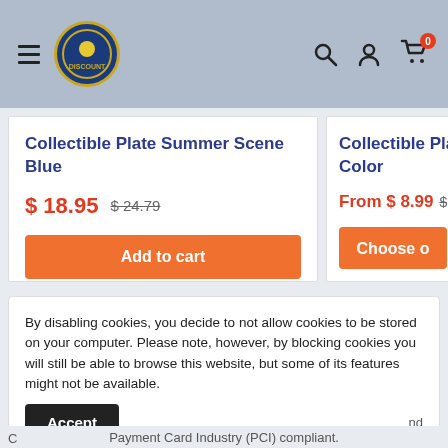[Figure (screenshot): Website header with hamburger menu, circular logo, search icon, user icon, and cart icon with badge showing 0]
Collectible Plate Summer Scene Blue
$ 18.95  $ 24.79
Add to cart
Collectible Plate C... Color
From $ 8.99  $...
Choose o...
By disabling cookies, you decide to not allow cookies to be stored on your computer.  Please note, however, by blocking cookies you will still be able to browse this website, but some of its features might not be available.
Accept
Payment Card Industry (PCI) compliant.